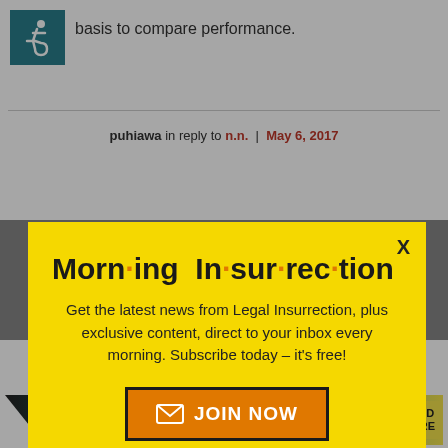basis to compare performance.
puhiawa in reply to n.n. | May 6, 2017
[Figure (screenshot): Morning Insurrection newsletter signup modal popup with yellow background. Title reads 'Morn·ing In·sur·rec·tion' with orange dots. Body text: 'Get the latest news from Legal Insurrection, plus exclusive content, direct to your inbox every morning. Subscribe today – it's free!' Orange JOIN NOW button with envelope icon. X close button top right.]
tom swift | May 6, 17 at 4:36 pm
[Figure (screenshot): The Perspective advertisement banner: 'SEE WHAT YOU'RE MISSING' with READ MORE button]